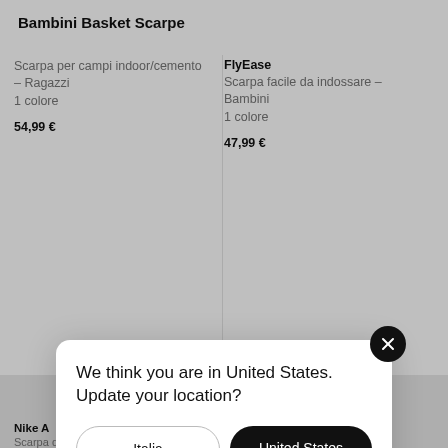Bambini Basket Scarpe
Scarpa per campi indoor/cemento – Ragazzi
1 colore
54,99 €
FlyEase
Scarpa facile da indossare – Bambini
1 colore
47,99 €
[Figure (screenshot): Partial product image area (gray background with shoe visible at bottom left)]
Nike A
Scarpa da basket – Ragazzi
Scarpa - Neonati/Bimbi piccoli
We think you are in United States. Update your location?
Italia
United States